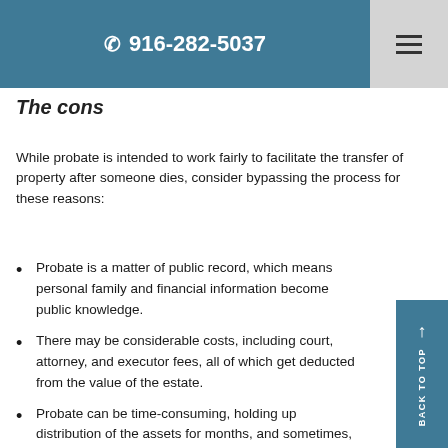916-282-5037
The cons
While probate is intended to work fairly to facilitate the transfer of property after someone dies, consider bypassing the process for these reasons:
Probate is a matter of public record, which means personal family and financial information become public knowledge.
There may be considerable costs, including court, attorney, and executor fees, all of which get deducted from the value of the estate.
Probate can be time-consuming, holding up distribution of the assets for months, and sometimes, years.